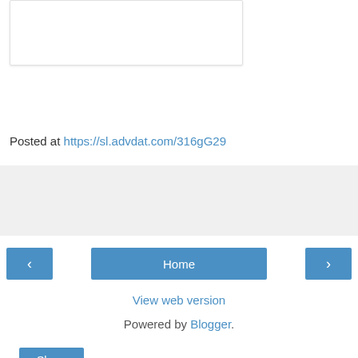[Figure (other): White card/image box with light border and shadow, partially visible at top of page]
Posted at https://sl.advdat.com/316gG29
[Figure (other): Share button bar with light gray background containing a blue Share button]
Navigation bar with left arrow button, Home button, and right arrow button
View web version
Powered by Blogger.